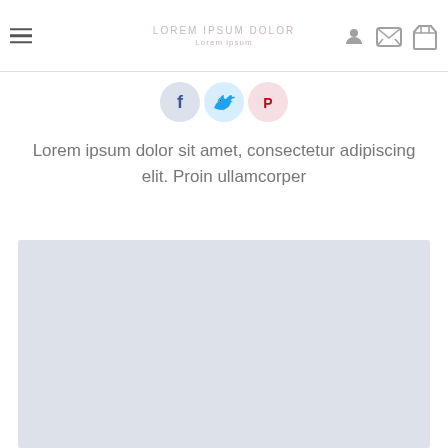LOREM IPSUM DOLOR / Lorem ipsum
[Figure (illustration): Three social media icon circles: Facebook (blue), Twitter (light blue), Pinterest (red)]
Lorem ipsum dolor sit amet, consectetur adipiscing elit. Proin ullamcorper
[Figure (photo): Large light blue-grey placeholder image area]